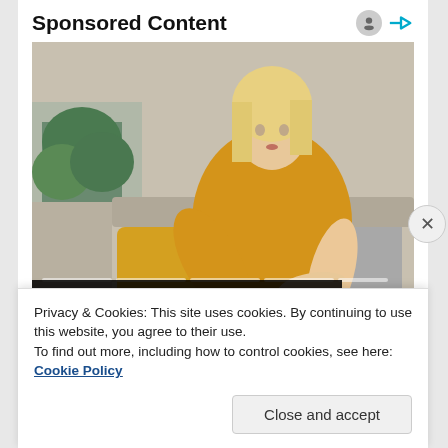Sponsored Content
[Figure (photo): Woman in yellow sweater looking at her arm, sitting on a couch. Video player controls visible at bottom. Caption overlay reads 'How Stress Affects Psoriasis'.]
How Stress Affects Psoriasis
Sponsored by HealthCentral.com
Privacy & Cookies: This site uses cookies. By continuing to use this website, you agree to their use.
To find out more, including how to control cookies, see here: Cookie Policy
Close and accept